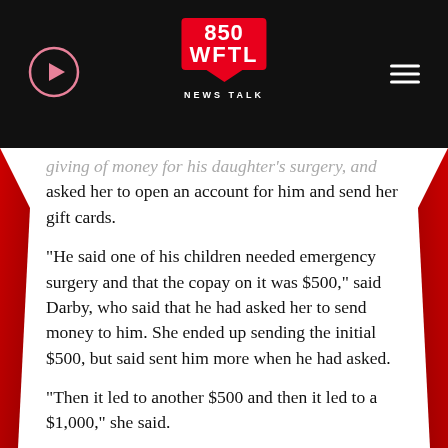850 WFTL NEWS TALK
giving of money for his daughter's surgery, and asked her to open an account for him and send her gift cards.
“He said one of his children needed emergency surgery and that the copay on it was $500,” said Darby, who said that he had asked her to send money to him. She ended up sending the initial $500, but said sent him more when he had asked.
“Then it led to another $500 and then it led to a $1,000,” she said.
Darby wasn’t aware at the time, but she had fallen victim to a romance scam.
Last year, scammers took in a record amount of cash according to the Federal Trade…